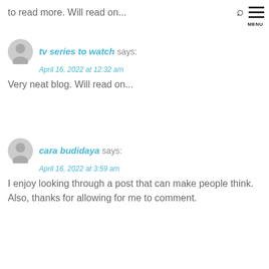MENU
to read more. Will read on...
tv series to watch says:
April 16, 2022 at 12:32 am
Very neat blog. Will read on...
cara budidaya says:
April 16, 2022 at 3:59 am
I enjoy looking through a post that can make people think. Also, thanks for allowing for me to comment.